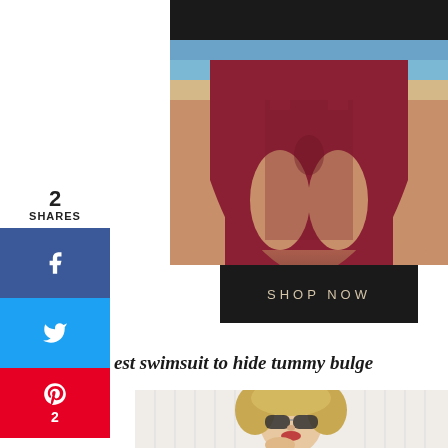[Figure (photo): Woman wearing a dark maroon/burgundy one-piece swimsuit at the beach, cropped to show torso and hips]
SHOP NOW
2
SHARES
[Figure (infographic): Facebook share button (blue)]
[Figure (infographic): Twitter share button (light blue)]
[Figure (infographic): Pinterest save button (red) with count 2]
est swimsuit to hide tummy bulge
[Figure (photo): Blonde woman with sunglasses and curly hair, smiling, wearing a white swimsuit or top]